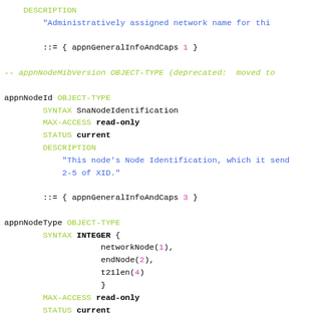DESCRIPTION
    "Administratively assigned network name for thi

    ::= { appnGeneralInfoAndCaps 1 }

-- appnNodeMibVersion OBJECT-TYPE (deprecated:  moved to

appnNodeId OBJECT-TYPE
    SYNTAX SnaNodeIdentification
    MAX-ACCESS read-only
    STATUS current
    DESCRIPTION
        "This node's Node Identification, which it send
        2-5 of XID."

    ::= { appnGeneralInfoAndCaps 3 }

appnNodeType OBJECT-TYPE
    SYNTAX INTEGER {
        networkNode(1),
        endNode(2),
        t21len(4)
        }
    MAX-ACCESS read-only
    STATUS current
    DESCRIPTION
        "Type of APPN node:

            networkNode(1)  - APPN network node
            endNode(2)      - APPN end node
            t21len(4)         LEN end node